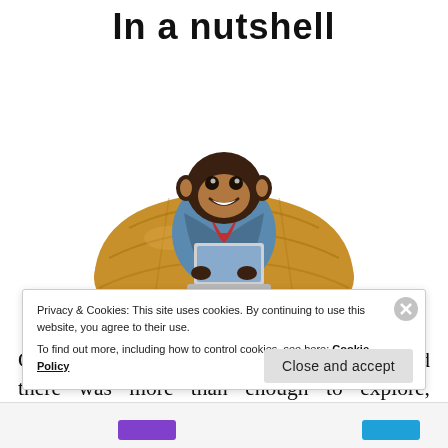In a nutshell
[Figure (illustration): A chimpanzee dressed in a blue jacket sitting inside a walnut shell half, working on a laptop computer. The image is on a white background.]
Our days at Magic Kingdom were great and there was more than enough to explore, discover and enjoy. The crowds during the [text cut off]
Privacy & Cookies: This site uses cookies. By continuing to use this website, you agree to their use.
To find out more, including how to control cookies, see here: Cookie Policy
Close and accept